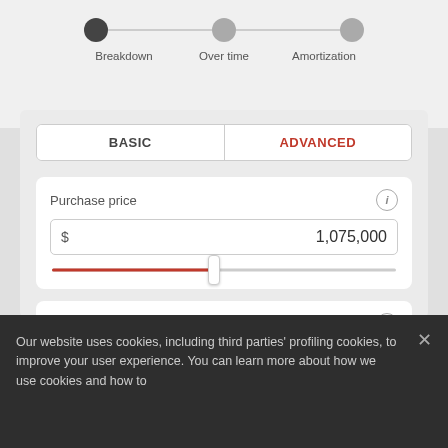[Figure (infographic): Step progress indicator with three dots connected by lines. First dot is active/dark, second and third are grey. Labels: Breakdown, Over time, Amortization.]
[Figure (screenshot): Mortgage calculator UI with BASIC and ADVANCED toggle. Purchase price field showing $1,075,000 with a red slider. Down payment field showing 25% with a red slider partially visible.]
Our website uses cookies, including third parties' profiling cookies, to improve your user experience. You can learn more about how we use cookies and how to